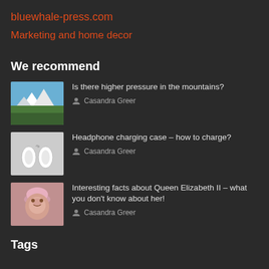bluewhale-press.com
Marketing and home decor
We recommend
Is there higher pressure in the mountains? Casandra Greer
Headphone charging case – how to charge? Casandra Greer
Interesting facts about Queen Elizabeth II – what you don't know about her! Casandra Greer
Tags